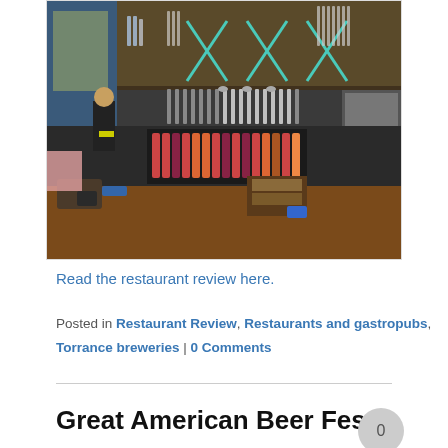[Figure (photo): Interior of a craft beer bar showing a long bar counter with numerous beer taps, shelves of bottles and glasses in the background, a bartender in black shirt working behind the bar, and colorful bottles in refrigerated cases below the counter.]
Read the restaurant review here.
Posted in Restaurant Review, Restaurants and gastropubs, Torrance breweries | 0 Comments
Great American Beer Fest